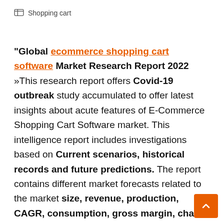Shopping cart
“Global ecommerce shopping cart software Market Research Report 2022 »This research report offers Covid-19 outbreak study accumulated to offer latest insights about acute features of E-Commerce Shopping Cart Software market. This intelligence report includes investigations based on Current scenarios, historical records and future predictions. The report contains different market forecasts related to the market size, revenue, production, CAGR, consumption, gross margin, charts, graphs, pie charts, price,